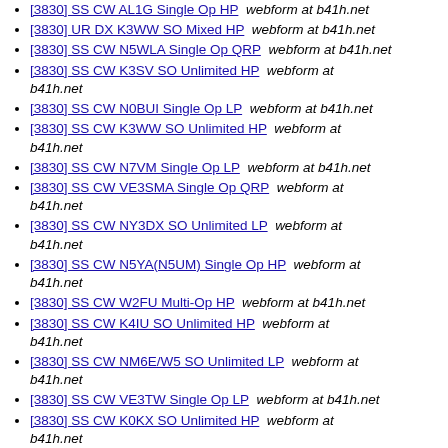[3830] SS CW AL1G Single Op HP  webform at b41h.net
[3830] UR DX K3WW SO Mixed HP  webform at b41h.net
[3830] SS CW N5WLA Single Op QRP  webform at b41h.net
[3830] SS CW K3SV SO Unlimited HP  webform at b41h.net
[3830] SS CW N0BUI Single Op LP  webform at b41h.net
[3830] SS CW K3WW SO Unlimited HP  webform at b41h.net
[3830] SS CW N7VM Single Op LP  webform at b41h.net
[3830] SS CW VE3SMA Single Op QRP  webform at b41h.net
[3830] SS CW NY3DX SO Unlimited LP  webform at b41h.net
[3830] SS CW N5YA(N5UM) Single Op HP  webform at b41h.net
[3830] SS CW W2FU Multi-Op HP  webform at b41h.net
[3830] SS CW K4IU SO Unlimited HP  webform at b41h.net
[3830] SS CW NM6E/W5 SO Unlimited LP  webform at b41h.net
[3830] SS CW VE3TW Single Op LP  webform at b41h.net
[3830] SS CW K0KX SO Unlimited HP  webform at b41h.net
[3830] SS CW W4XO Single Op HP  webform at b41h.net